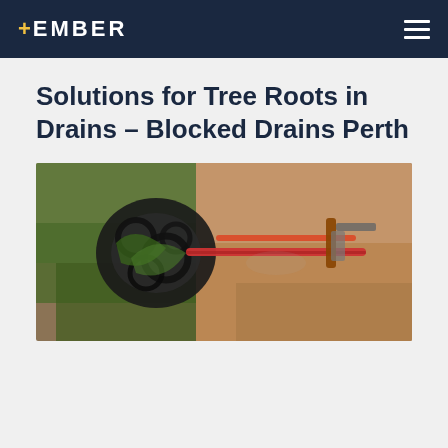EMBER
Solutions for Tree Roots in Drains – Blocked Drains Perth
[Figure (photo): Photograph of plumbing drain snake/auger coils and tools lying on a mossy/muddy surface, used for clearing blocked drains.]